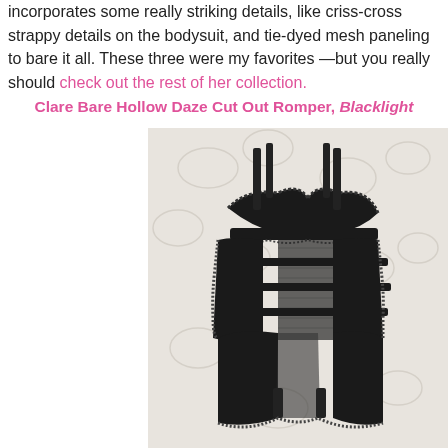incorporates some really striking details, like criss-cross strappy details on the bodysuit, and tie-dyed mesh paneling to bare it all. These three were my favorites —but you really should check out the rest of her collection.
Clare Bare Hollow Daze Cut Out Romper, Blacklight
[Figure (photo): Black lingerie romper with lace trim, strappy bra top, mesh paneling, and multiple horizontal straps laid flat on a white embossed floral fabric background.]